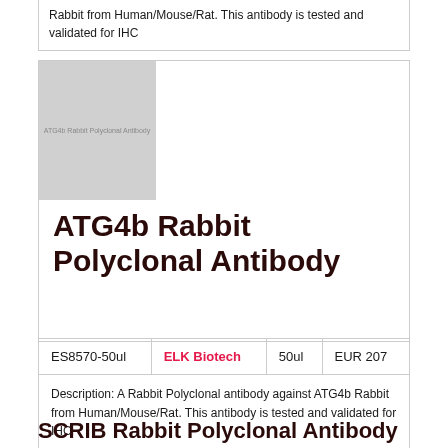Rabbit from Human/Mouse/Rat. This antibody is tested and validated for IHC
[Figure (photo): ATG4b Rabbit Polyclonal Antibody product image placeholder with grey background and text label]
ATG4b Rabbit Polyclonal Antibody
| ES8570-50ul | ELK Biotech | 50ul | EUR 207 |
Description: A Rabbit Polyclonal antibody against ATG4b Rabbit from Human/Mouse/Rat. This antibody is tested and validated for IHC
SCRIB Rabbit Polyclonal Antibody